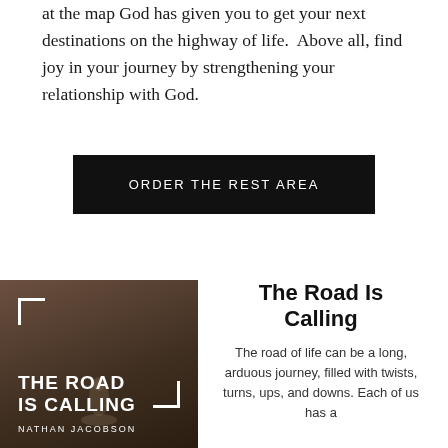at the map God has given you to get your next destinations on the highway of life. Above all, find joy in your journey by strengthening your relationship with God.
ORDER THE REST AREA
[Figure (photo): Book cover for 'The Road Is Calling' by Nathan Jacobson — dark sepia/brown toned cover with large white bold uppercase text and corner bracket decorations, with a faint figure silhouette]
The Road Is Calling
The road of life can be a long, arduous journey, filled with twists, turns, ups, and downs. Each of us has a